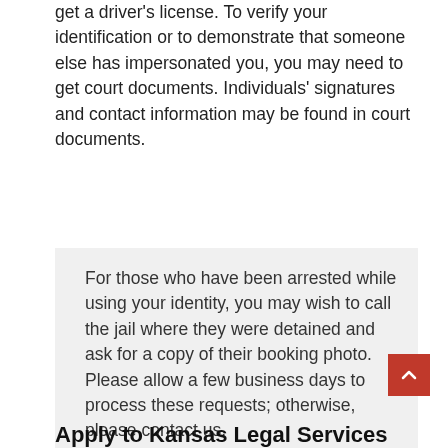get a driver's license. To verify your identification or to demonstrate that someone else has impersonated you, you may need to get court documents. Individuals' signatures and contact information may be found in court documents.
For those who have been arrested while using your identity, you may wish to call the jail where they were detained and ask for a copy of their booking photo. Please allow a few business days to process these requests; otherwise, please contact us.
Apply to Kansas Legal Services